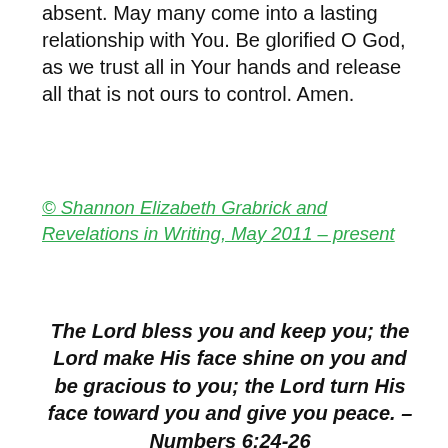absent. May many come into a lasting relationship with You. Be glorified O God, as we trust all in Your hands and release all that is not ours to control. Amen.
© Shannon Elizabeth Grabrick and Revelations in Writing, May 2011 – present
The Lord bless you and keep you; the Lord make His face shine on you and be gracious to you; the Lord turn His face toward you and give you peace. – Numbers 6:24-26